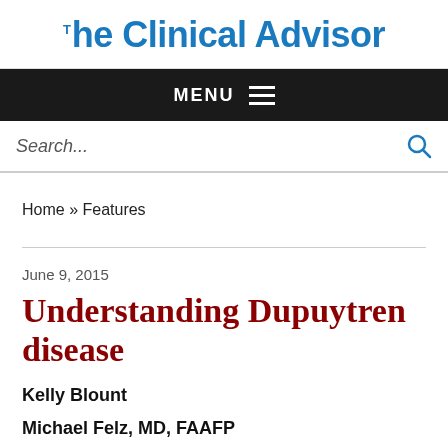The Clinical Advisor
MENU
Search...
Home » Features
June 9, 2015
Understanding Dupuytren disease
Kelly Blount
Michael Felz, MD, FAAFP